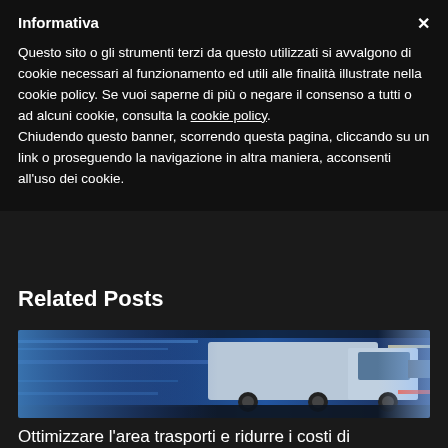Informativa
Questo sito o gli strumenti terzi da questo utilizzati si avvalgono di cookie necessari al funzionamento ed utili alle finalità illustrate nella cookie policy. Se vuoi saperne di più o negare il consenso a tutti o ad alcuni cookie, consulta la cookie policy.
Chiudendo questo banner, scorrendo questa pagina, cliccando su un link o proseguendo la navigazione in altra maniera, acconsenti all'uso dei cookie.
Related Posts
[Figure (photo): A truck driving at high speed through a tunnel with blue motion blur lighting]
Ottimizzare l'area trasporti e ridurre i costi di spedizione
[Figure (photo): Partial view of another related post image at bottom]